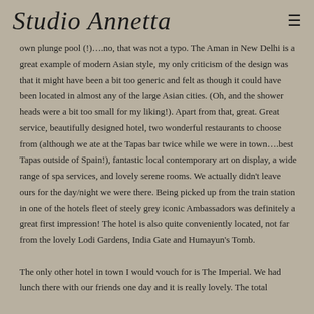Studio Annetta
own plunge pool (!)….no, that was not a typo. The Aman in New Delhi is a great example of modern Asian style, my only criticism of the design was that it might have been a bit too generic and felt as though it could have been located in almost any of the large Asian cities. (Oh, and the shower heads were a bit too small for my liking!). Apart from that, great. Great service, beautifully designed hotel, two wonderful restaurants to choose from (although we ate at the Tapas bar twice while we were in town….best Tapas outside of Spain!), fantastic local contemporary art on display, a wide range of spa services, and lovely serene rooms. We actually didn't leave ours for the day/night we were there. Being picked up from the train station in one of the hotels fleet of steely grey iconic Ambassadors was definitely a great first impression! The hotel is also quite conveniently located, not far from the lovely Lodi Gardens, India Gate and Humayun's Tomb.
The only other hotel in town I would vouch for is The Imperial. We had lunch there with our friends one day and it is really lovely. The total